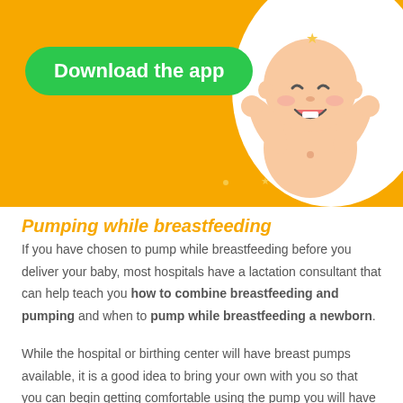[Figure (infographic): Orange banner with green 'Download the app' button, a cheerful baby illustration on the right side, star decorations, and a white X close button in the top right corner.]
Pumping while breastfeeding (partially visible, cut off)
If you have chosen to pump while breastfeeding before you deliver your baby, most hospitals have a lactation consultant that can help teach you how to combine breastfeeding and pumping and when to pump while breastfeeding a newborn.
While the hospital or birthing center will have breast pumps available, it is a good idea to bring your own with you so that you can begin getting comfortable using the pump you will have at home.
If you are pumping while breastfeeding during the first two (partially visible, cut off at bottom)